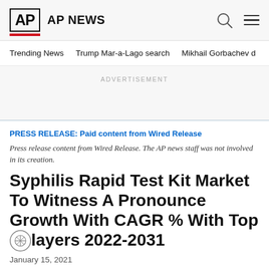AP AP NEWS
Trending News   Trump Mar-a-Lago search   Mikhail Gorbachev d
ADVERTISEMENT
PRESS RELEASE: Paid content from Wired Release
Press release content from Wired Release. The AP news staff was not involved in its creation.
Syphilis Rapid Test Kit Market To Witness A Pronounce Growth With CAGR % With Top K[inaccessibility icon]layers 2022-2031
January 15, 2021